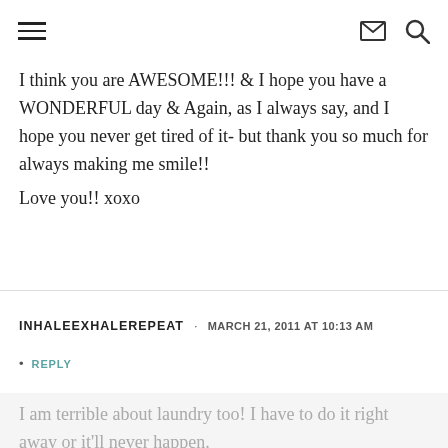[hamburger menu icon] [envelope icon] [search icon]
I think you are AWESOME!!! & I hope you have a WONDERFUL day & Again, as I always say, and I hope you never get tired of it- but thank you so much for always making me smile!!
Love you!! xoxo
INHALEEXHALEREPEAT · MARCH 21, 2011 AT 10:13 AM
• REPLY
I am terrible about laundry too! I have to do it right away or it'll never happen.